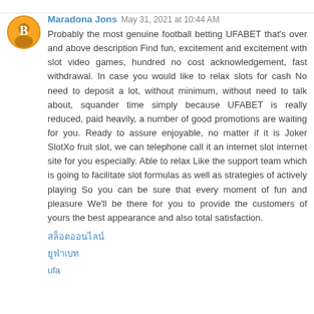Maradona Jons  May 31, 2021 at 10:44 AM
Probably the most genuine football betting UFABET that's over and above description Find fun, excitement and excitement with slot video games, hundred no cost acknowledgement, fast withdrawal. In case you would like to relax slots for cash No need to deposit a lot, without minimum, without need to talk about, squander time simply because UFABET is really reduced, paid heavily, a number of good promotions are waiting for you. Ready to assure enjoyable, no matter if it is Joker SlotXo fruit slot, we can telephone call it an internet slot internet site for you especially. Able to relax Like the support team which is going to facilitate slot formulas as well as strategies of actively playing So you can be sure that every moment of fun and pleasure We'll be there for you to provide the customers of yours the best appearance and also total satisfaction.
สล็อตออนไลน์
ยูฟ่าเบท
ufa